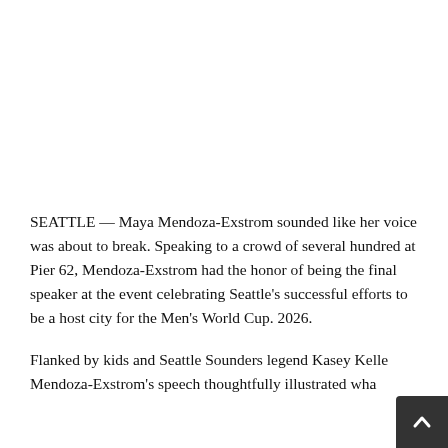SEATTLE — Maya Mendoza-Exstrom sounded like her voice was about to break. Speaking to a crowd of several hundred at Pier 62, Mendoza-Exstrom had the honor of being the final speaker at the event celebrating Seattle's successful efforts to be a host city for the Men's World Cup. 2026.
Flanked by kids and Seattle Sounders legend Kasey Keller, Mendoza-Exstrom's speech thoughtfully illustrated wha...